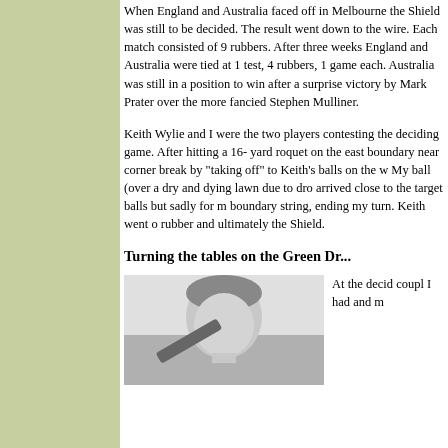When England and Australia faced off in Melbourne the Shield was still to be decided. The result went down to the wire. Each match consisted of 9 rubbers. After three weeks England and Australia were tied at 1 test, 4 rubbers, 1 game each. Australia was still in a position to win after a surprise victory by Mark Prater over the more fancied Stephen Mulliner.
Keith Wylie and I were the two players contesting the deciding game. After hitting a 16- yard roquet on the east boundary near cor... break by "taking off" to Keith's balls on the w... My ball (over a dry and dying lawn due to dro... arrived close to the target balls but sadly for m... boundary string, ending my turn. Keith went o... rubber and ultimately the Shield.
Turning the tables on the Green Dr...
[Figure (photo): Black and white photo of a person, cropped to show head and upper body, holding what appears to be a mallet or sports equipment.]
At the... decid... coupl... I had... and m...